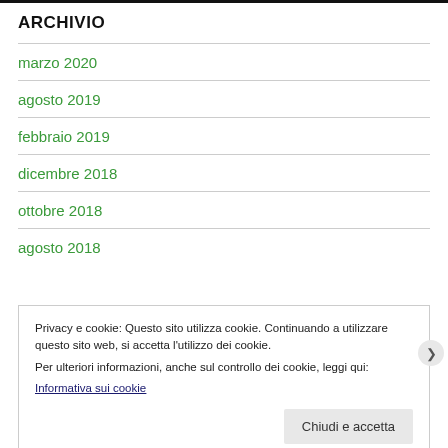ARCHIVIO
marzo 2020
agosto 2019
febbraio 2019
dicembre 2018
ottobre 2018
agosto 2018
Privacy e cookie: Questo sito utilizza cookie. Continuando a utilizzare questo sito web, si accetta l'utilizzo dei cookie.
Per ulteriori informazioni, anche sul controllo dei cookie, leggi qui:
Informativa sui cookie
Chiudi e accetta